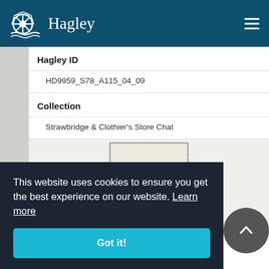Hagley
Hagley ID
HD9959_S78_A115_04_09
Collection
Strawbridge & Clothier's Store Chat
[Figure (photo): Scanned document thumbnail — blank cream/beige page]
This website uses cookies to ensure you get the best experience on our website. Learn more
Got it!
Title